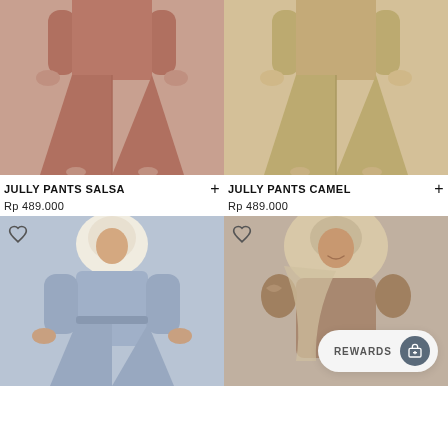[Figure (photo): Woman wearing pink/salsa wide-leg pants (Jully Pants Salsa) against grey background, full outfit view from chest down]
[Figure (photo): Woman wearing camel/beige wide-leg pants (Jully Pants Camel) against grey background, full outfit view from chest down]
JULLY PANTS SALSA
Rp 489.000
JULLY PANTS CAMEL
Rp 489.000
[Figure (photo): Woman wearing hijab and blue wide-leg pants outfit, belted at waist, quarter-length view]
[Figure (photo): Woman wearing hijab in beige/mocha outfit, smiling, with REWARDS button overlay]